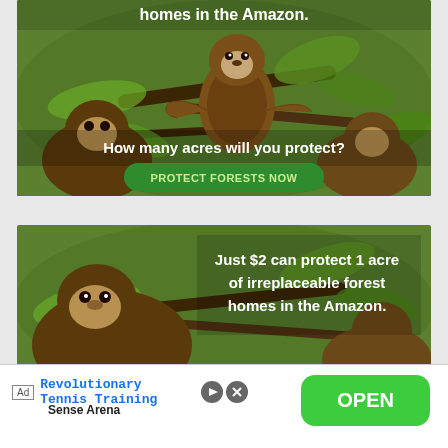[Figure (photo): Amazon forest advertisement showing monkeys on branches with text overlay: 'homes in the Amazon.' and 'How many acres will you protect?' with a green 'PROTECT FORESTS NOW' button]
[Figure (photo): Second Amazon forest advertisement showing monkey with text: 'Just $2 can protect 1 acre of irreplaceable forest homes in the Amazon.']
Ad  Revolutionary Tennis Training  Sense Arena
OPEN